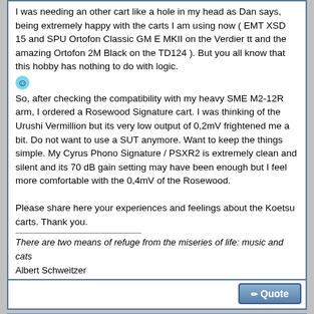I was needing an other cart like a hole in my head as Dan says, being extremely happy with the carts I am using now (EMT XSD 15 and SPU Ortofon Classic GM E MKII on the Verdier tt and the amazing Ortofon 2M Black on the TD124 ). But you all know that this hobby has nothing to do with logic.
So, after checking the compatibility with my heavy SME M2-12R arm, I ordered a Rosewood Signature cart. I was thinking of the Urushi Vermillion but its very low output of 0,2mV frightened me a bit. Do not want to use a SUT anymore. Want to keep the things simple. My Cyrus Phono Signature / PSXR2 is extremely clean and silent and its 70 dB gain setting may have been enough but I feel more comfortable with the 0,4mV of the Rosewood.
Please share here your experiences and feelings about the Koetsu carts. Thank you.
There are two means of refuge from the miseries of life: music and cats
Albert Schweitzer
01-18-2018, 03:21 AM  #2
PHC1
Guest
Join Date: Apr 2009
Location: Pa
Posts: 23,609